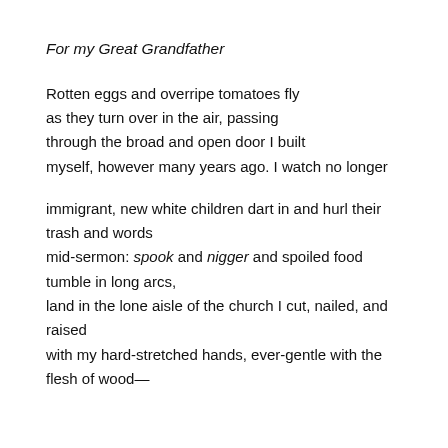For my Great Grandfather
Rotten eggs and overripe tomatoes fly
as they turn over in the air, passing
through the broad and open door I built
myself, however many years ago. I watch no longer
immigrant, new white children dart in and hurl their
trash and words
mid-sermon: spook and nigger and spoiled food
tumble in long arcs,
land in the lone aisle of the church I cut, nailed, and
raised
with my hard-stretched hands, ever-gentle with the
flesh of wood—